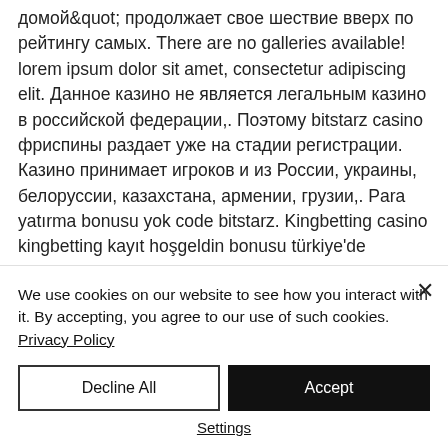домой&quot; продолжает свое шествие вверх по рейтингу самых. There are no galleries available! lorem ipsum dolor sit amet, consectetur adipiscing elit. Данное казино не является легальным казино в российской федерации,. Поэтому bitstarz casino фриспины раздает уже на стадии регистрации. Казино принимает игроков и из России, украины, белоруссии, казахстана, армении, грузии,. Para yatırma bonusu yok code bitstarz. Kingbetting casino kingbetting kayıt hoşgeldin bonusu türkiye'de
We use cookies on our website to see how you interact with it. By accepting, you agree to our use of such cookies. Privacy Policy
Decline All
Accept
Settings